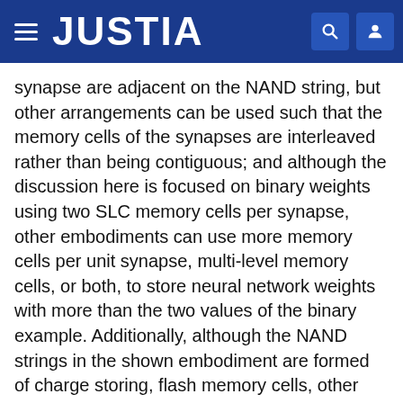JUSTIA
synapse are adjacent on the NAND string, but other arrangements can be used such that the memory cells of the synapses are interleaved rather than being contiguous; and although the discussion here is focused on binary weights using two SLC memory cells per synapse, other embodiments can use more memory cells per unit synapse, multi-level memory cells, or both, to store neural network weights with more than the two values of the binary example. Additionally, although the NAND strings in the shown embodiment are formed of charge storing, flash memory cells, other memory cells with the same array architecture can also be used.
The determination of the output of a unit synapse 1401i,j storing weight Wi,j can be determined by applying an input logic voltage pattern to the corresponding input to Input<j>, while the other memory cells and